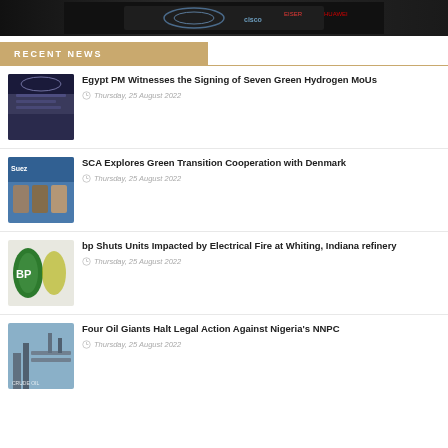[Figure (photo): Top banner image showing documents or event materials on a dark background with logos]
RECENT NEWS
[Figure (photo): Photo of a meeting room or conference setting with officials]
Egypt PM Witnesses the Signing of Seven Green Hydrogen MoUs
Thursday, 25 August 2022
[Figure (photo): Photo of officials standing in front of a banner, possibly Suez Canal Authority related]
SCA Explores Green Transition Cooperation with Denmark
Thursday, 25 August 2022
[Figure (photo): Photo of BP branded equipment or cylinders with green and yellow colors]
bp Shuts Units Impacted by Electrical Fire at Whiting, Indiana refinery
Thursday, 25 August 2022
[Figure (photo): Photo of oil refinery infrastructure with pipes and industrial equipment]
Four Oil Giants Halt Legal Action Against Nigeria's NNPC
Thursday, 25 August 2022